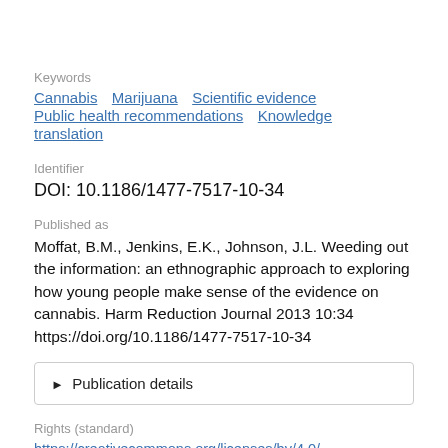Keywords
Cannabis   Marijuana   Scientific evidence   Public health recommendations   Knowledge translation
Identifier
DOI: 10.1186/1477-7517-10-34
Published as
Moffat, B.M., Jenkins, E.K., Johnson, J.L. Weeding out the information: an ethnographic approach to exploring how young people make sense of the evidence on cannabis. Harm Reduction Journal 2013 10:34 https://doi.org/10.1186/1477-7517-10-34
▶  Publication details
Rights (standard)
https://creativecommons.org/licenses/by/4.0/